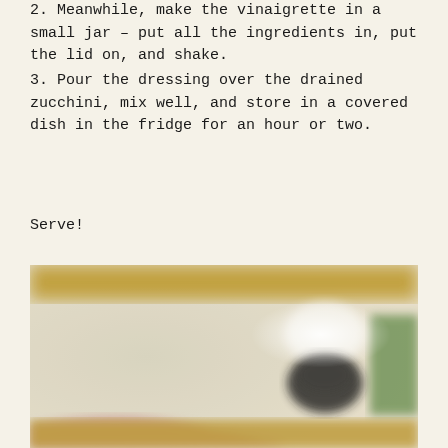2. Meanwhile, make the vinaigrette in a small jar – put all the ingredients in, put the lid on, and shake.
3. Pour the dressing over the drained zucchini, mix well, and store in a covered dish in the fridge for an hour or two.
Serve!
[Figure (photo): Blurry close-up photo of food preparation, showing a bowl or dish with ingredients, blurred background with yellow/golden tones at top and bottom, greenish element on right, and a dark bowl visible in the right portion of the image.]